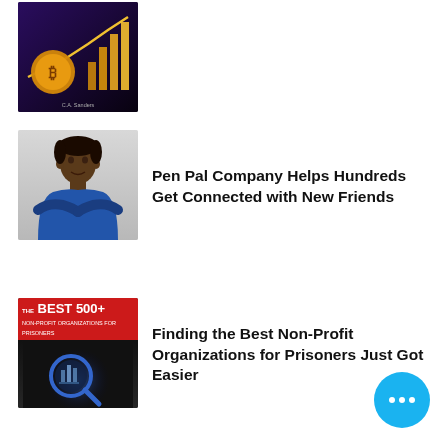[Figure (photo): Bitcoin book cover with gold coins and chart on dark purple/black background]
[Figure (photo): Photo of a man in a blue shirt with arms crossed, light grey background]
Pen Pal Company Helps Hundreds Get Connected with New Friends
[Figure (photo): Book cover: The Best 500+ Non-Profit Organizations for Prisoners, red bar at top, dark background with magnifying glass graphic]
Finding the Best Non-Profit Organizations for Prisoners Just Got Easier